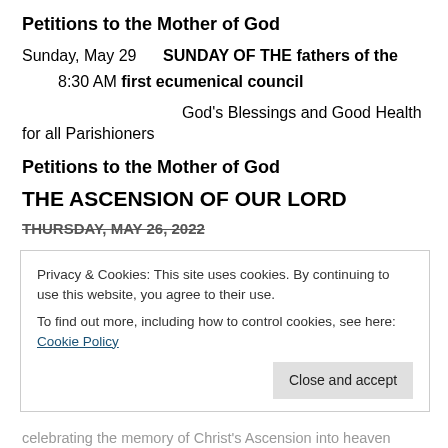Petitions to the Mother of God
Sunday, May 29    SUNDAY OF THE fathers of the
8:30 AM first ecumenical council
God's Blessings and Good Health for all Parishioners
Petitions to the Mother of God
THE ASCENSION OF OUR LORD
THURSDAY, MAY 26, 2022
Privacy & Cookies: This site uses cookies. By continuing to use this website, you agree to their use.
To find out more, including how to control cookies, see here: Cookie Policy
Close and accept
celebrating the memory of Christ's Ascension into heaven